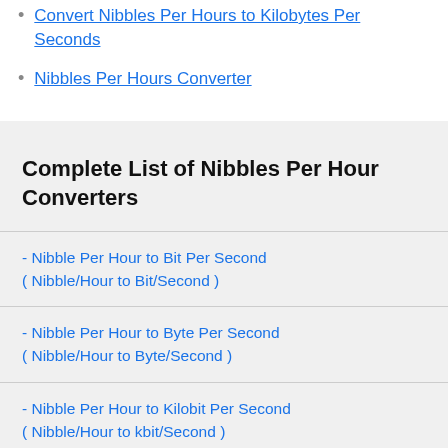Convert Nibbles Per Hours to Kilobytes Per Seconds
Nibbles Per Hours Converter
Complete List of Nibbles Per Hour Converters
- Nibble Per Hour to Bit Per Second ( Nibble/Hour to Bit/Second )
- Nibble Per Hour to Byte Per Second ( Nibble/Hour to Byte/Second )
- Nibble Per Hour to Kilobit Per Second ( Nibble/Hour to kbit/Second )
- Nibble Per Hour to Kibibit Per Second ( Nibble/Hour to Kibit/Second )
- Nibble Per Hour to Kilobyte Per Second